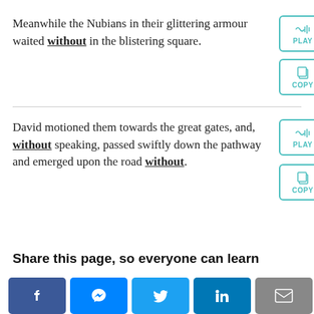Meanwhile the Nubians in their glittering armour waited without in the blistering square.
[Figure (other): PLAY button (audio) for first sentence]
[Figure (other): COPY button for first sentence]
David motioned them towards the great gates, and, without speaking, passed swiftly down the pathway and emerged upon the road without.
[Figure (other): PLAY button (audio) for second sentence]
[Figure (other): COPY button for second sentence]
Share this page, so everyone can learn
[Figure (other): Social sharing buttons: Facebook, Messenger, Twitter, LinkedIn, Email]